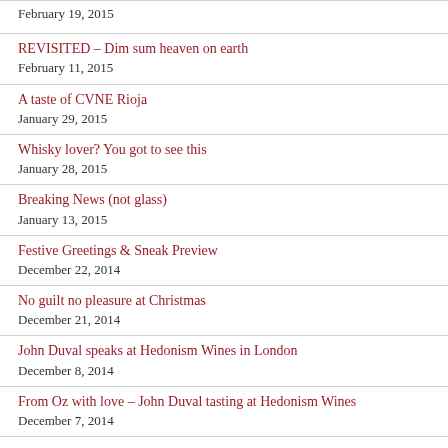February 19, 2015
REVISITED – Dim sum heaven on earth
February 11, 2015
A taste of CVNE Rioja
January 29, 2015
Whisky lover? You got to see this
January 28, 2015
Breaking News (not glass)
January 13, 2015
Festive Greetings & Sneak Preview
December 22, 2014
No guilt no pleasure at Christmas
December 21, 2014
John Duval speaks at Hedonism Wines in London
December 8, 2014
From Oz with love – John Duval tasting at Hedonism Wines
December 7, 2014